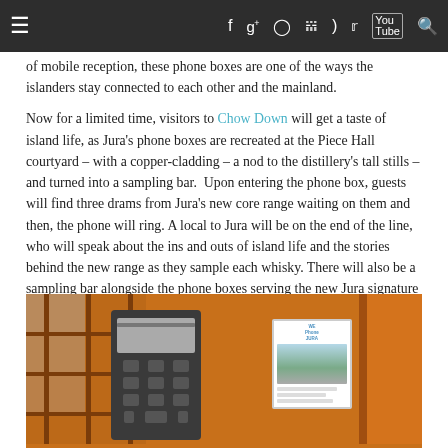≡  f  g+  ◎  ℗  ⊃)  𝕏  You Tube  🔍
of mobile reception, these phone boxes are one of the ways the islanders stay connected to each other and the mainland.

Now for a limited time, visitors to Chow Down will get a taste of island life, as Jura's phone boxes are recreated at the Piece Hall courtyard – with a copper-cladding – a nod to the distillery's tall stills – and turned into a sampling bar.  Upon entering the phone box, guests will find three drams from Jura's new core range waiting on them and then, the phone will ring. A local to Jura will be on the end of the line, who will speak about the ins and outs of island life and the stories behind the new range as they sample each whisky. There will also be a sampling bar alongside the phone boxes serving the new Jura signature series.
[Figure (photo): Interior of a copper-clad phone box showing a grey payphone mounted on the wall, with keypad and screen visible. On the right side of the phone box interior, a framed Jura whisky promotional poster/sign is mounted on the orange copper-clad wall. The background shows the warm orange/copper color of the phone box interior.]